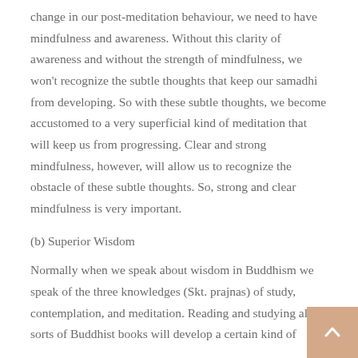change in our post-meditation behaviour, we need to have mindfulness and awareness. Without this clarity of awareness and without the strength of mindfulness, we won't recognize the subtle thoughts that keep our samadhi from developing. So with these subtle thoughts, we become accustomed to a very superficial kind of meditation that will keep us from progressing. Clear and strong mindfulness, however, will allow us to recognize the obstacle of these subtle thoughts. So, strong and clear mindfulness is very important.
(b) Superior Wisdom
Normally when we speak about wisdom in Buddhism we speak of the three knowledges (Skt. prajnas) of study, contemplation, and meditation. Reading and studying all sorts of Buddhist books will develop a certain kind of